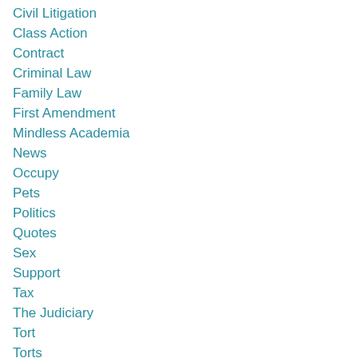Civil Litigation
Class Action
Contract
Criminal Law
Family Law
First Amendment
Mindless Academia
News
Occupy
Pets
Politics
Quotes
Sex
Support
Tax
The Judiciary
Tort
Torts
Uncategorized